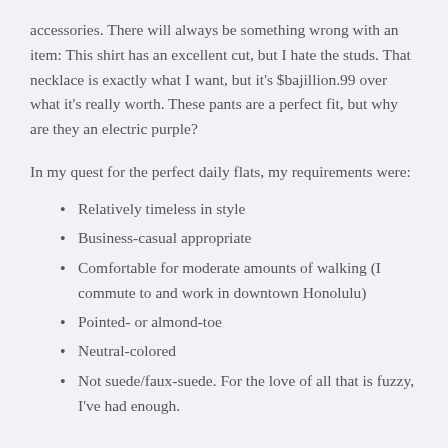accessories. There will always be something wrong with an item: This shirt has an excellent cut, but I hate the studs. That necklace is exactly what I want, but it's $bajillion.99 over what it's really worth. These pants are a perfect fit, but why are they an electric purple?
In my quest for the perfect daily flats, my requirements were:
Relatively timeless in style
Business-casual appropriate
Comfortable for moderate amounts of walking (I commute to and work in downtown Honolulu)
Pointed- or almond-toe
Neutral-colored
Not suede/faux-suede. For the love of all that is fuzzy, I've had enough.